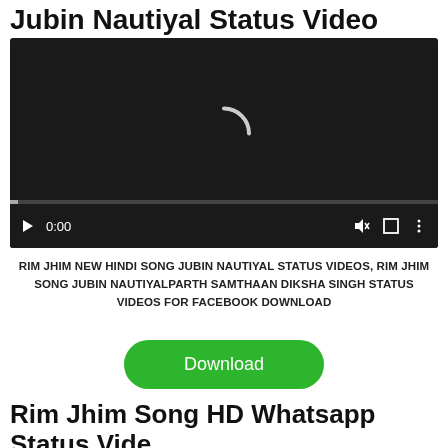Jubin Nautiyal Status Video
[Figure (screenshot): Video player with dark background showing a loading spinner, play button, 0:00 timestamp, and media controls (volume, fullscreen, more options) at the bottom.]
RIM JHIM NEW HINDI SONG JUBIN NAUTIYAL STATUS VIDEOS, RIM JHIM SONG JUBIN NAUTIYALPARTH SAMTHAAN DIKSHA SINGH STATUS VIDEOS FOR FACEBOOK DOWNLOAD
[Figure (other): Green rounded rectangle Download button]
Rim Jhim Song HD Whatsapp Status Video